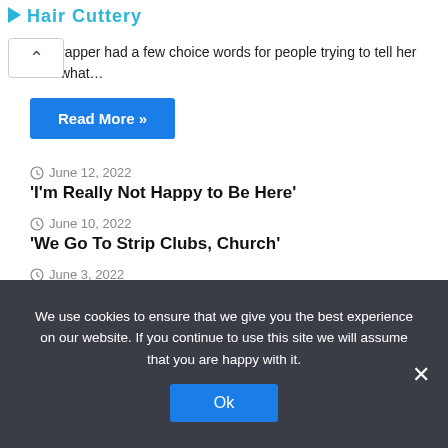Hair Cuttery
rapper had a few choice words for people trying to tell her what…
Read More »
June 12, 2022
'I'm Really Not Happy to Be Here'
June 10, 2022
'We Go To Strip Clubs, Church'
June 3, 2022
Bellarmine has new angle in fight for NCAA postseason eligibility
We use cookies to ensure that we give you the best experience on our website. If you continue to use this site we will assume that you are happy with it.
Ok